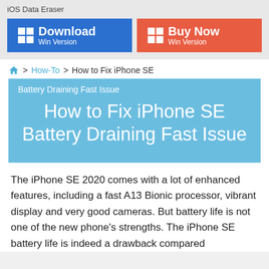iOS Data Eraser
[Figure (screenshot): Download Win Version and Buy Now Win Version buttons with Windows icons on blue and orange-red backgrounds]
🏠 > How-To > How to Fix iPhone SE
Battery Draining Fast Issue
How to Fix iPhone SE Battery Draining Fast Issue
The iPhone SE 2020 comes with a lot of enhanced features, including a fast A13 Bionic processor, vibrant display and very good cameras. But battery life is not one of the new phone's strengths. The iPhone SE battery life is indeed a drawback compared